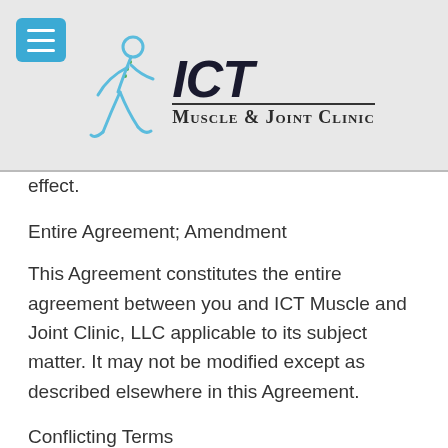[Figure (logo): ICT Muscle & Joint Clinic logo with runner figure in blue and bold ICT text]
effect.
Entire Agreement; Amendment
This Agreement constitutes the entire agreement between you and ICT Muscle and Joint Clinic, LLC applicable to its subject matter. It may not be modified except as described elsewhere in this Agreement.
Conflicting Terms
Anything on the Site inconsistent or in conflict with the terms of this Agreement is superseded by the terms of this Agreement.